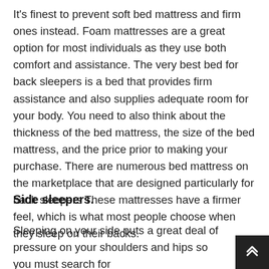It's finest to prevent soft bed mattress and firm ones instead. Foam mattresses are a great option for most individuals as they use both comfort and assistance. The very best bed for back sleepers is a bed that provides firm assistance and also supplies adequate room for your body. You need to also think about the thickness of the bed mattress, the size of the bed mattress, and the price prior to making your purchase. There are numerous bed mattress on the marketplace that are designed particularly for back sleepers These mattresses have a firmer feel, which is what most people choose when they sleep on their backs.
Side sleepers.
Sleeping on your side puts a great deal of pressure on your shoulders and hips so you must search for